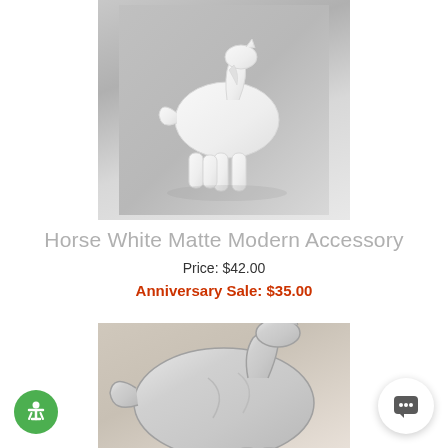[Figure (photo): White matte ceramic horse figurine sculpture on gray gradient background, stylized modern design]
Horse White Matte Modern Accessory
Price: $42.00
Anniversary Sale: $35.00
[Figure (photo): Silver/chrome metallic horse figurine sculpture on beige/taupe gradient background, close-up view]